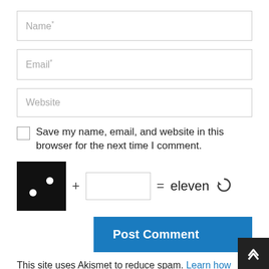Name*
Email*
Website
Save my name, email, and website in this browser for the next time I comment.
[Figure (other): CAPTCHA: black square with two white dots (dice showing two), plus sign, empty input field, equals sign, text 'eleven', refresh icon]
Post Comment
This site uses Akismet to reduce spam. Learn how your comment data is processed.